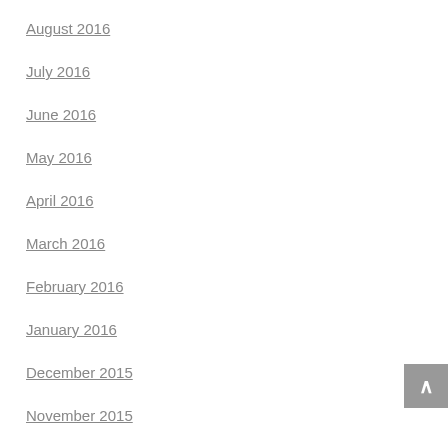August 2016
July 2016
June 2016
May 2016
April 2016
March 2016
February 2016
January 2016
December 2015
November 2015